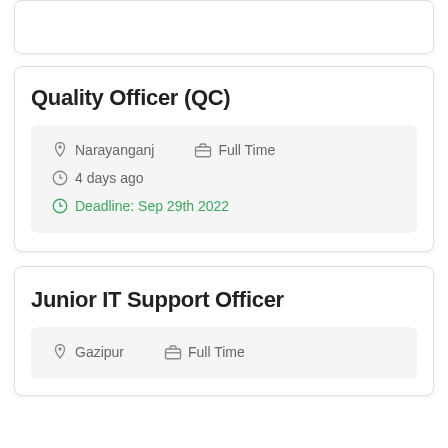Quality Officer (QC)
Narayanganj   Full Time
4 days ago
Deadline: Sep 29th 2022
Junior IT Support Officer
Gazipur   Full Time